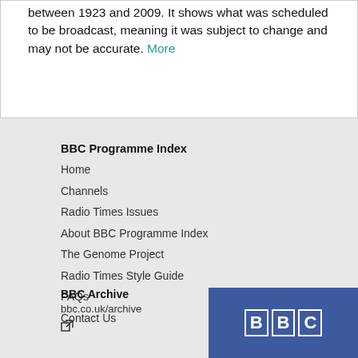between 1923 and 2009. It shows what was scheduled to be broadcast, meaning it was subject to change and may not be accurate. More
BBC Programme Index
Home
Channels
Radio Times Issues
About BBC Programme Index
The Genome Project
Radio Times Style Guide
FAQs
Contact Us
BBC Archive
bbc.co.uk/archive
[Figure (logo): BBC logo - three white letter blocks 'B', 'B', 'C' on a blue background]